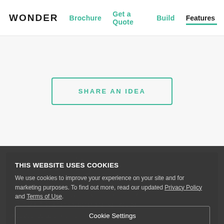WONDER  Brochure  Get a Quote  Build  Features
SHARE AN IDEA
ommunity
THIS WEBSITE USES COOKIES
We use cookies to improve your experience on your site and for marketing purposes. To find out more, read our updated Privacy Policy and Terms of Use.
Cookie Settings
Accept All Cookies
First Name